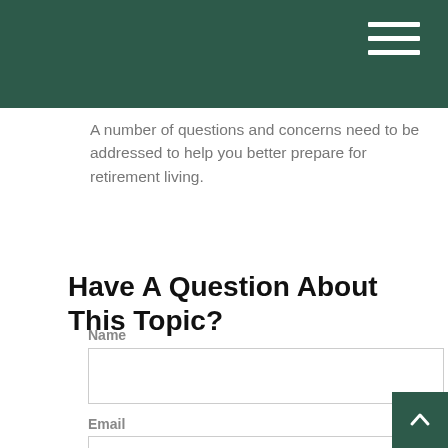A number of questions and concerns need to be addressed to help you better prepare for retirement living.
Have A Question About This Topic?
Name
Email